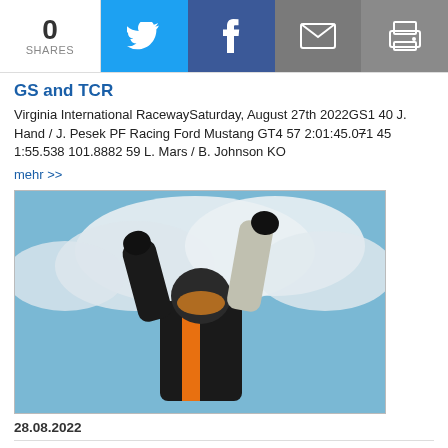0 SHARES | Twitter | Facebook | Email | Print
GS and TCR
Virginia International RacewaySaturday, August 27th 2022GS1 40 J. Hand / J. Pesek PF Racing Ford Mustang GT4 57 2:01:45.071 45 1:55.538 101.8882 59 L. Mars / B. Johnson KO
mehr >>
[Figure (photo): Racing driver in black and orange suit with helmet, arms raised in victory pose against blue sky with clouds]
28.08.2022
IMSA Series: Gonzalez Victorious in Mazda MX-5 Cup